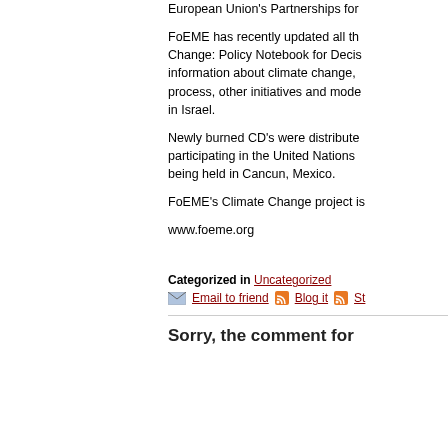European Union's Partnerships for
FoEME has recently updated all the Change: Policy Notebook for Decis information about climate change, process, other initiatives and mode in Israel.
Newly burned CD's were distribute participating in the United Nations being held in Cancun, Mexico.
FoEME's Climate Change project i
www.foeme.org
Categorized in Uncategorized
Email to friend   Blog it   St
Sorry, the comment for